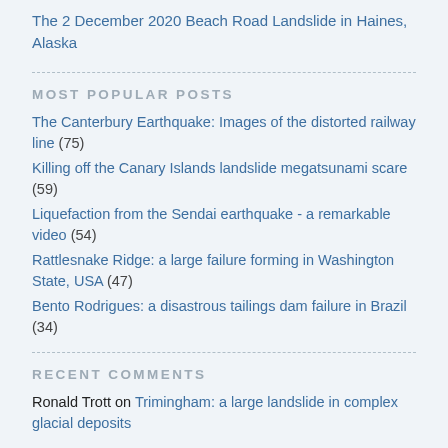The 2 December 2020 Beach Road Landslide in Haines, Alaska
MOST POPULAR POSTS
The Canterbury Earthquake: Images of the distorted railway line (75)
Killing off the Canary Islands landslide megatsunami scare (59)
Liquefaction from the Sendai earthquake - a remarkable video (54)
Rattlesnake Ridge: a large failure forming in Washington State, USA (47)
Bento Rodrigues: a disastrous tailings dam failure in Brazil (34)
RECENT COMMENTS
Ronald Trott on Trimingham: a large landslide in complex glacial deposits
G Noll on The risk of large rockslides at the port of Skagway in Alaska
Sheena on The Kniipe Point landslide - arguments over the